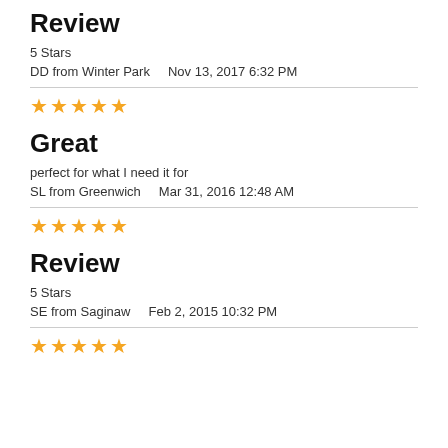Review
5 Stars
DD from Winter Park    Nov 13, 2017 6:32 PM
[Figure (other): 5 gold stars rating]
Great
perfect for what I need it for
SL from Greenwich    Mar 31, 2016 12:48 AM
[Figure (other): 5 gold stars rating]
Review
5 Stars
SE from Saginaw    Feb 2, 2015 10:32 PM
[Figure (other): 5 gold stars rating]